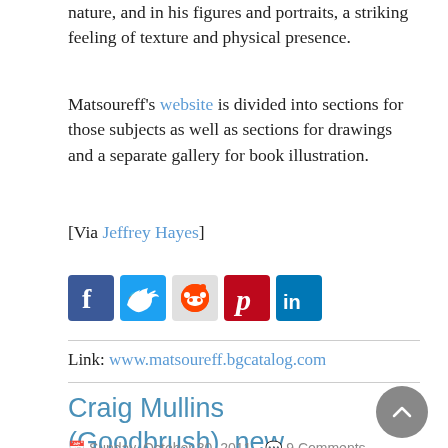nature, and in his figures and portraits, a striking feeling of texture and physical presence.
Matsoureff's website is divided into sections for those subjects as well as sections for drawings and a separate gallery for book illustration.
[Via Jeffrey Hayes]
[Figure (other): Social share buttons: Facebook, Twitter, Reddit, Pinterest, LinkedIn]
Link: www.matsoureff.bgcatalog.com
Craig Mullins (Goodbrush), new website
Sunday, October 30, 2011   9 Comments
Digital Painting, Illustration